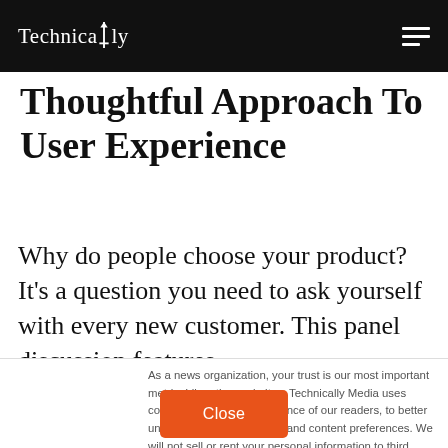Technically
Thoughtful Approach To User Experience
Why do people choose your product? It's a question you need to ask yourself with every new customer. This panel discussion features
As a news organization, your trust is our most important metric. Like other websites, Technically Media uses cookies to track the experience of our readers, to better understand usage patterns and content preferences. We will not sell or rent your personal information to third parties. For more information or to contact us, read our entire Ethics & Privacy Policy.
Close